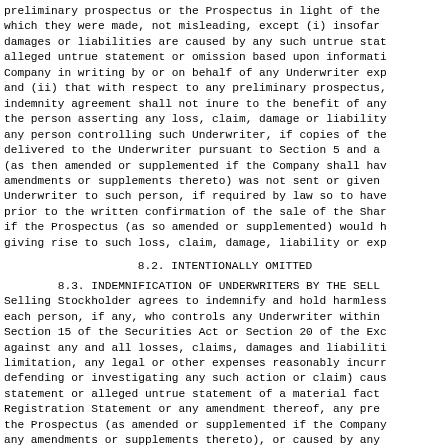preliminary prospectus or the Prospectus in light of the which they were made, not misleading, except (i) insofar damages or liabilities are caused by any such untrue stat alleged untrue statement or omission based upon informati Company in writing by or on behalf of any Underwriter exp and (ii) that with respect to any preliminary prospectus, indemnity agreement shall not inure to the benefit of any the person asserting any loss, claim, damage or liability any person controlling such Underwriter, if copies of the delivered to the Underwriter pursuant to Section 5 and a (as then amended or supplemented if the Company shall hav amendments or supplements thereto) was not sent or given Underwriter to such person, if required by law so to have prior to the written confirmation of the sale of the Shar if the Prospectus (as so amended or supplemented) would h giving rise to such loss, claim, damage, liability or exp
8.2. INTENTIONALLY OMITTED
8.3. INDEMNIFICATION OF UNDERWRITERS BY THE SELL Selling Stockholder agrees to indemnify and hold harmless each person, if any, who controls any Underwriter within Section 15 of the Securities Act or Section 20 of the Exc against any and all losses, claims, damages and liabiliti limitation, any legal or other expenses reasonably incurr defending or investigating any such action or claim) caus statement or alleged untrue statement of a material fact Registration Statement or any amendment thereof, any pre the Prospectus (as amended or supplemented if the Company any amendments or supplements thereto), or caused by any